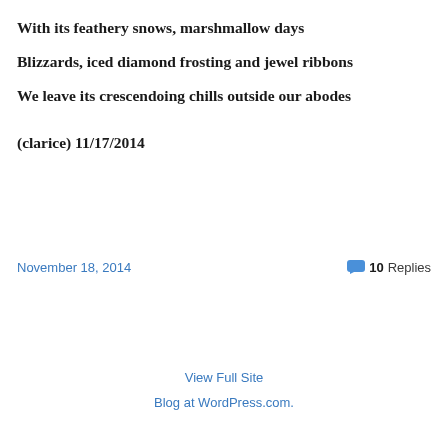With its feathery snows, marshmallow days
Blizzards, iced diamond frosting and jewel ribbons
We leave its crescendoing chills outside our abodes
(clarice) 11/17/2014
November 18, 2014
10 Replies
View Full Site
Blog at WordPress.com.